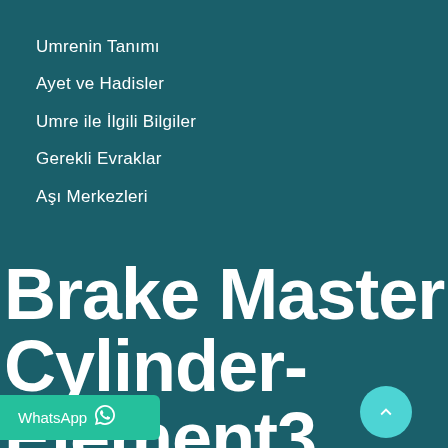Umrenin Tanımı
Ayet ve Hadisler
Umre ile İlgili Bilgiler
Gerekli Evraklar
Aşı Merkezleri
Brake Master Cylinder-Element3 New Raybestos MC391477 fits 13-19
WhatsApp